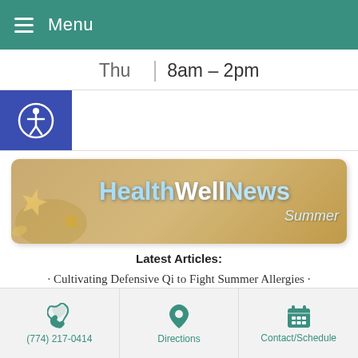Menu
Thu  8am – 2pm
[Figure (logo): Accessibility button with person-in-circle icon on blue background]
[Figure (illustration): HealthWellNews Summer banner with starfish on sandy background]
Latest Articles:
Cultivating Defensive Qi to Fight Summer Allergies
3 Tips for Healthy Summer Fun
A Taste of Summer
(774) 217-0414  Directions  Contact/Schedule